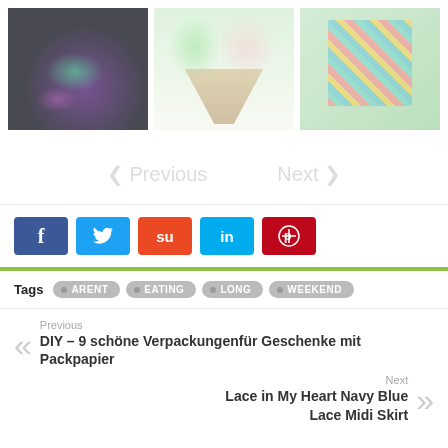[Figure (photo): Three craft/DIY images in a row: left shows glowing objects in dark, center shows paper ice cream cones, right shows colorful paper craft on wooden fence]
Previous   Next
[Figure (infographic): Social sharing buttons: Facebook (blue f), Twitter (blue bird), StumbleUpon (orange su), LinkedIn (light blue in), Pinterest (red p)]
Tags  ARENT  EATING  LONG  WEEKEND
Previous
DIY – 9 schöne Verpackungenfür Geschenke mit Packpapier
Next
Lace in My Heart Navy Blue Lace Midi Skirt